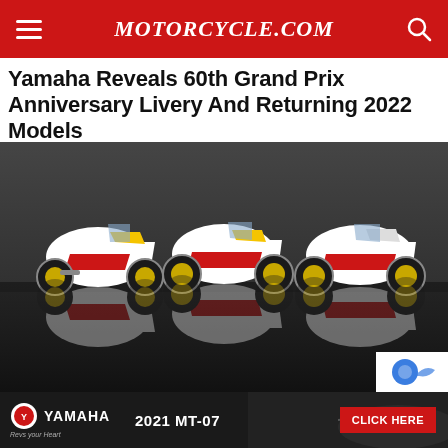MOTORCYCLE.COM
Yamaha Reveals 60th Grand Prix Anniversary Livery And Returning 2022 Models
[Figure (photo): Three Yamaha sportbikes in white, red, and gold 60th Anniversary Grand Prix livery displayed on a reflective black floor against a dark grey concrete background, with their reflections visible below.]
[Figure (advertisement): Yamaha advertisement banner showing '2021 MT-07' with a 'CLICK HERE' button in red, Yamaha logo on the left, and a motorcycle in the background.]